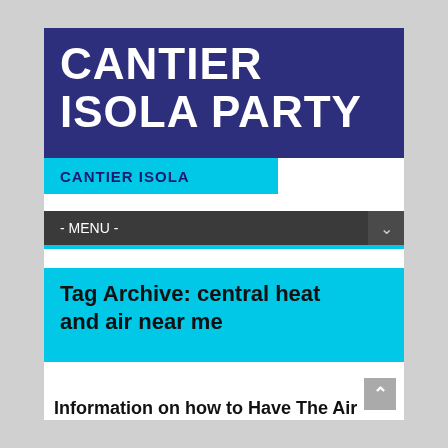CANTIER ISOLA PARTY
CANTIER ISOLA
- MENU -
Tag Archive: central heat and air near me
Information on how to Have The Air